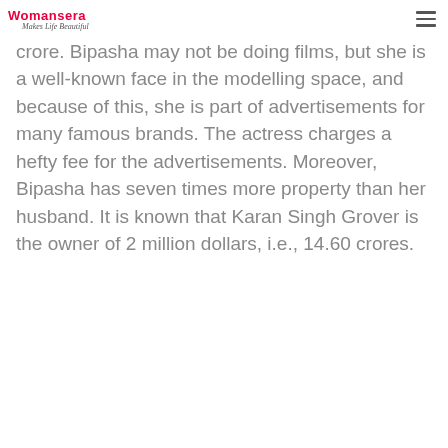Womansera – Makes Life Beautiful
a property worth $15 million, or about Rs 109 crore. Bipasha may not be doing films, but she is a well-known face in the modelling space, and because of this, she is part of advertisements for many famous brands. The actress charges a hefty fee for the advertisements. Moreover, Bipasha has seven times more property than her husband. It is known that Karan Singh Grover is the owner of 2 million dollars, i.e., 14.60 crores.